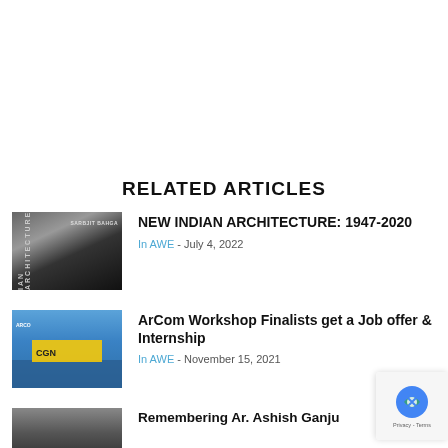RELATED ARTICLES
[Figure (photo): Book cover of New Indian Architecture: 1947-2020 by Sarbjit Bahga, showing a building facade at an angle]
NEW INDIAN ARCHITECTURE: 1947-2020
In AWE - July 4, 2022
[Figure (photo): ArCom building exterior with blue glass facade and company signage]
ArCom Workshop Finalists get a Job offer & Internship
In AWE - November 15, 2021
[Figure (photo): Thumbnail image for Remembering Ar. Ashish Ganju article]
Remembering Ar. Ashish Ganju